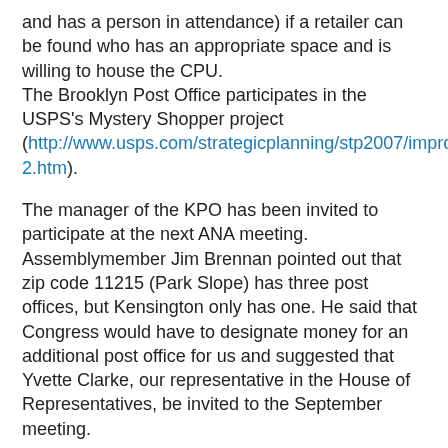and has a person in attendance) if a retailer can be found who has an appropriate space and is willing to house the CPU.
The Brooklyn Post Office participates in the USPS's Mystery Shopper project (http://www.usps.com/strategicplanning/stp2007/improve_002.htm).
The manager of the KPO has been invited to participate at the next ANA meeting. Assemblymember Jim Brennan pointed out that zip code 11215 (Park Slope) has three post offices, but Kensington only has one. He said that Congress would have to designate money for an additional post office for us and suggested that Yvette Clarke, our representative in the House of Representatives, be invited to the September meeting.
Traffic congestion: An ANA member reported on a Department of Transportation (DOT) meeting about street traffic congestion on Church Avenue between McDonald Avenue and Utica Avenue caused by double parked cars, cars making illegal U-turns, bicyclists, and the lack of ten-